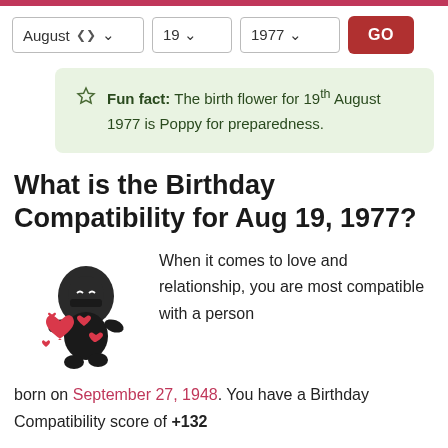August  19  1977  GO
Fun fact: The birth flower for 19th August 1977 is Poppy for preparedness.
What is the Birthday Compatibility for Aug 19, 1977?
When it comes to love and relationship, you are most compatible with a person born on September 27, 1948. You have a Birthday Compatibility score of +132